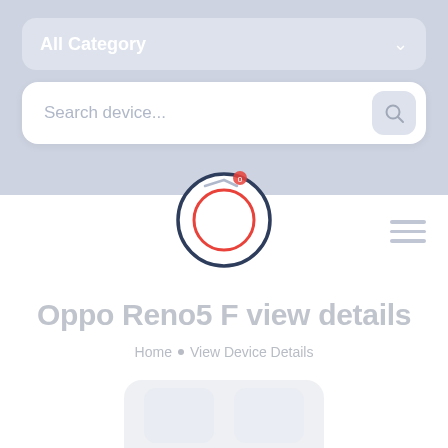[Figure (screenshot): App header with category dropdown showing 'All Category' and a search bar with placeholder 'Search device...' on a light blue-grey background]
Oppo Reno5 F view details
Home • View Device Details
[Figure (illustration): Partial phone device preview at the bottom of the page]